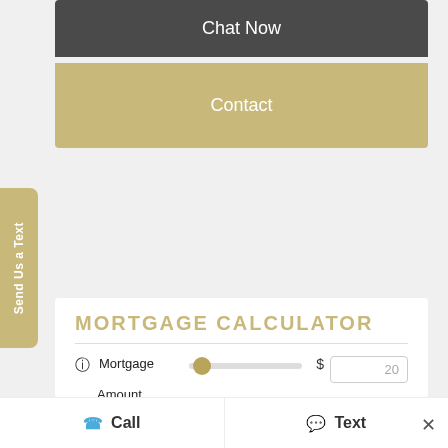Chat Now
Contact
Send Us a Text
MORTGAGE CALCULATOR
Mortgage Amount
Amortization
Payment Freq.
Call
Text